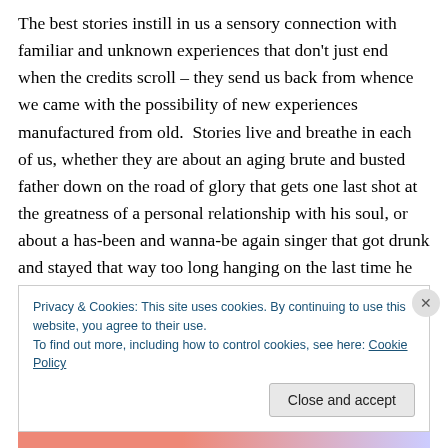The best stories instill in us a sensory connection with familiar and unknown experiences that don't just end when the credits scroll – they send us back from whence we came with the possibility of new experiences manufactured from old.  Stories live and breathe in each of us, whether they are about an aging brute and busted father down on the road of glory that gets one last shot at the greatness of a personal relationship with his soul, or about a has-been and wanna-be again singer that got drunk and stayed that way too long hanging on the last time he felt alive before the golden rule of celebritydom
Privacy & Cookies: This site uses cookies. By continuing to use this website, you agree to their use.
To find out more, including how to control cookies, see here: Cookie Policy